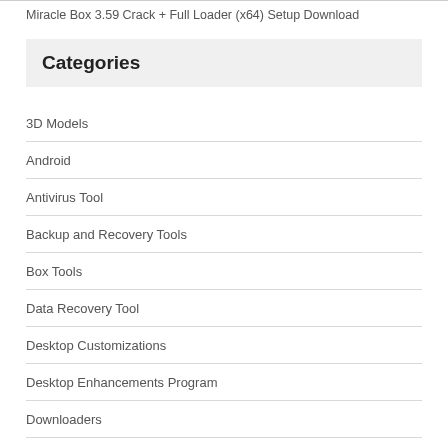Miracle Box 3.59 Crack + Full Loader (x64) Setup Download
Categories
3D Models
Android
Antivirus Tool
Backup and Recovery Tools
Box Tools
Data Recovery Tool
Desktop Customizations
Desktop Enhancements Program
Downloaders
ERP Tools Download
Gaming Relate